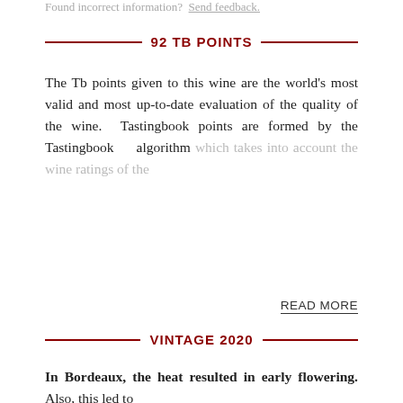Found incorrect information? Send feedback.
92 TB POINTS
The Tb points given to this wine are the world's most valid and most up-to-date evaluation of the quality of the wine. Tastingbook points are formed by the Tastingbook algorithm which takes into account the wine ratings of the
READ MORE
VINTAGE 2020
In Bordeaux, the heat resulted in early flowering. Also, this led to